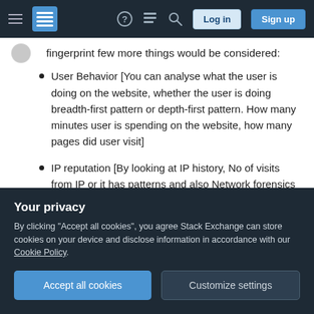Navigation bar with hamburger menu, Stack Exchange logo, help, chat, search icons, Log in and Sign up buttons
fingerprint few more things would be considered:
User Behavior [You can analyse what the user is doing on the website, whether the user is doing breadth-first pattern or depth-first pattern. How many minutes user is spending on the website, how many pages did user visit]
IP reputation [By looking at IP history, No of visits from IP or it has patterns and also Network forensics can be done on the received request and identifies if the request is coming
Your privacy
By clicking "Accept all cookies", you agree Stack Exchange can store cookies on your device and disclose information in accordance with our Cookie Policy.
Accept all cookies
Customize settings